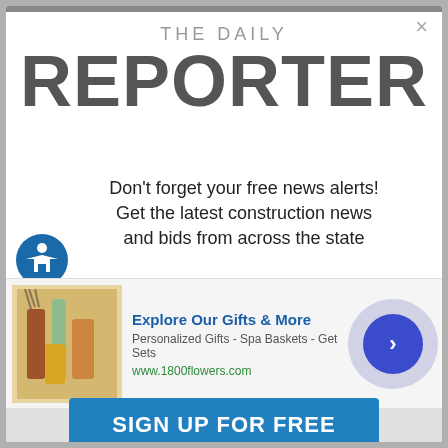THE DAILY REPORTER
Don't forget your free news alerts! Get the latest construction news and bids from across the state
[Figure (screenshot): Advertisement banner for 1800flowers.com showing gift products. Title: Explore Our Gifts & More. Subtitle: Personalized Gifts - Spa Baskets - Get Sets. URL: www.1800flowers.com]
SIGN UP FOR FREE